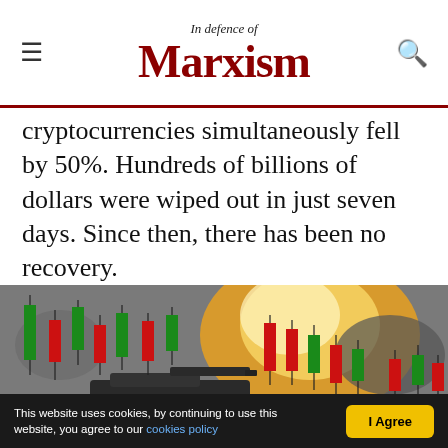In Defence of Marxism
cryptocurrencies simultaneously fell by 50%. Hundreds of billions of dollars were wiped out in just seven days. Since then, there has been no recovery.
[Figure (photo): A military tank with a large explosion of fire and smoke in the background, overlaid with candlestick chart graphics in red and green.]
This website uses cookies, by continuing to use this website, you agree to our cookies policy